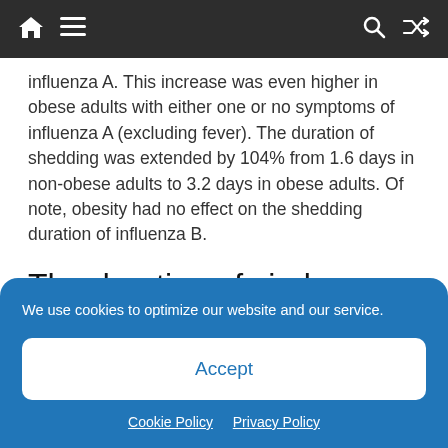Navigation bar with home, menu, search, and shuffle icons
influenza A. This increase was even higher in obese adults with either one or no symptoms of influenza A (excluding fever). The duration of shedding was extended by 104% from 1.6 days in non-obese adults to 3.2 days in obese adults. Of note, obesity had no effect on the shedding duration of influenza B.
The duration of viral
We use cookies to optimize our website and our service.
Accept
Cookie Policy   Privacy Policy